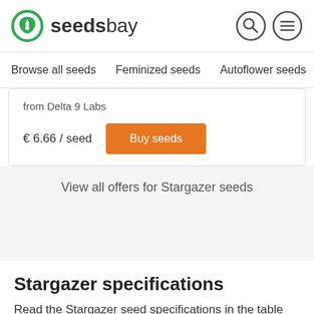seedsbay
Browse all seeds   Feminized seeds   Autoflower seeds   Indica
from Delta 9 Labs
€ 6.66 / seed
Buy seeds
View all offers for Stargazer seeds
Stargazer specifications
Read the Stargazer seed specifications in the table below. The values may vary between the different seedbanks